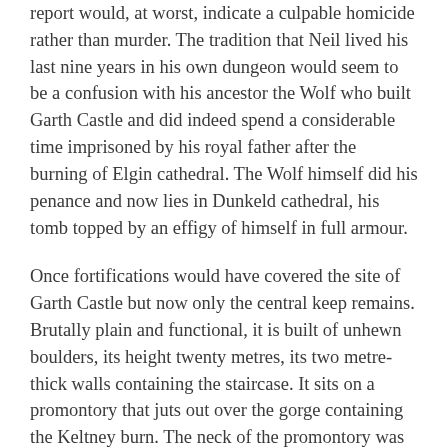report would, at worst, indicate a culpable homicide rather than murder. The tradition that Neil lived his last nine years in his own dungeon would seem to be a confusion with his ancestor the Wolf who built Garth Castle and did indeed spend a considerable time imprisoned by his royal father after the burning of Elgin cathedral. The Wolf himself did his penance and now lies in Dunkeld cathedral, his tomb topped by an effigy of himself in full armour.
Once fortifications would have covered the site of Garth Castle but now only the central keep remains. Brutally plain and functional, it is built of unhewn boulders, its height twenty metres, its two metre-thick walls containing the staircase. It sits on a promontory that juts out over the gorge containing the Keltney burn. The neck of the promontory was then broken which made the building virtually